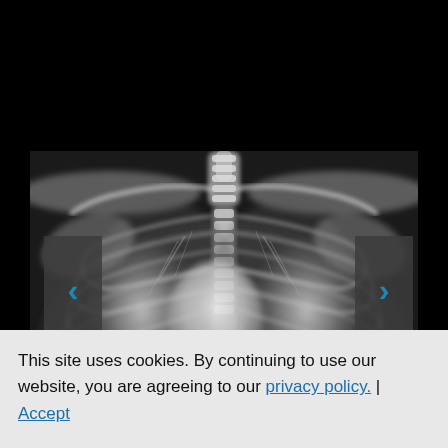[Figure (photo): Black-background medical image viewer showing a chest X-ray (PA view) of a human thorax. The X-ray displays the ribcage, lungs, spine, and clavicles in grayscale. Navigation arrows (< and >) appear on the left and right sides for cycling through images.]
This site uses cookies. By continuing to use our website, you are agreeing to our privacy policy. | Accept